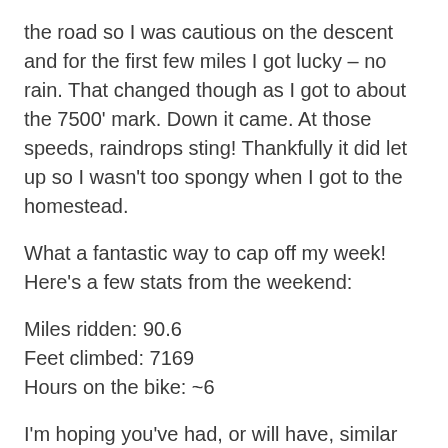the road so I was cautious on the descent and for the first few miles I got lucky – no rain. That changed though as I got to about the 7500' mark. Down it came. At those speeds, raindrops sting! Thankfully it did let up so I wasn't too spongy when I got to the homestead.
What a fantastic way to cap off my week! Here's a few stats from the weekend:
Miles ridden: 90.6
Feet climbed: 7169
Hours on the bike: ~6
I'm hoping you've had, or will have, similar weekends of wonder. If you have, or do, and would